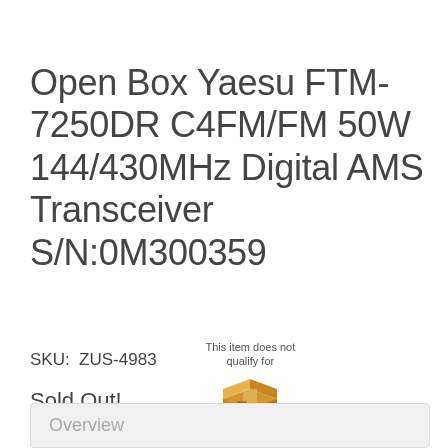Open Box Yaesu FTM-7250DR C4FM/FM 50W 144/430MHz Digital AMS Transceiver S/N:0M300359
SKU:  ZUS-4983
[Figure (infographic): Box with shipping items icon and text 'This item does not qualify for FREE SHIPPING']
Sold Out!
Overview